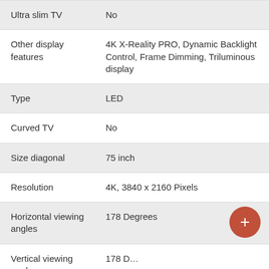| Feature | Value |
| --- | --- |
| Ultra slim TV | No |
| Other display features | 4K X-Reality PRO, Dynamic Backlight Control, Frame Dimming, Triluminous display |
| Type | LED |
| Curved TV | No |
| Size diagonal | 75 inch |
| Resolution | 4K, 3840 x 2160 Pixels |
| Horizontal viewing angles | 178 Degrees |
| Vertical viewing angles | 178 Degrees |